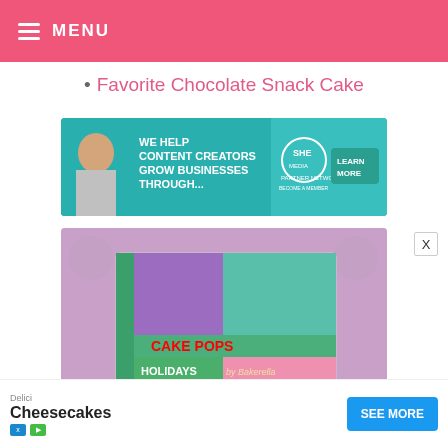MENU
Favorite Chocolate Snack Cake
[Figure (photo): SHE Media Partner Network advertisement banner: woman smiling, text 'WE HELP CONTENT CREATORS GROW BUSINESSES THROUGH...' with SHE Media logo and 'LEARN MORE' button, 'BECOME A MEMBER']
[Figure (photo): Cake Pops Holidays by Bakerella book advertisement on purple polka-dot background, showing holiday cake pops. Text: 'CAKE POPS HOLIDAYS by Bakerella', 'ORDER YOUR COPY']
[Figure (photo): Bottom advertisement: 'Delici Cheesecakes' with 'SEE MORE' button in blue]